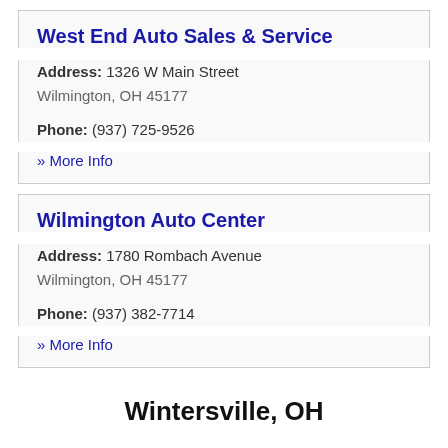West End Auto Sales & Service
Address: 1326 W Main Street
Wilmington, OH 45177
Phone: (937) 725-9526
» More Info
Wilmington Auto Center
Address: 1780 Rombach Avenue
Wilmington, OH 45177
Phone: (937) 382-7714
» More Info
Wintersville, OH